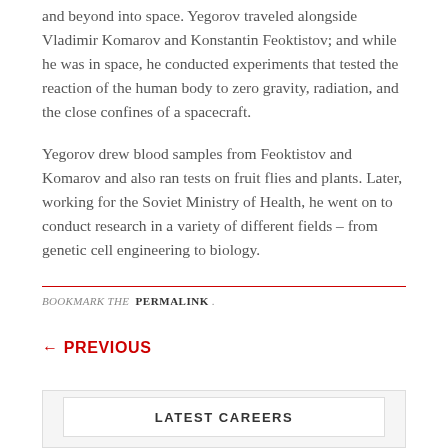and beyond into space. Yegorov traveled alongside Vladimir Komarov and Konstantin Feoktistov; and while he was in space, he conducted experiments that tested the reaction of the human body to zero gravity, radiation, and the close confines of a spacecraft.
Yegorov drew blood samples from Feoktistov and Komarov and also ran tests on fruit flies and plants. Later, working for the Soviet Ministry of Health, he went on to conduct research in a variety of different fields – from genetic cell engineering to biology.
BOOKMARK THE PERMALINK .
← PREVIOUS
LATEST CAREERS